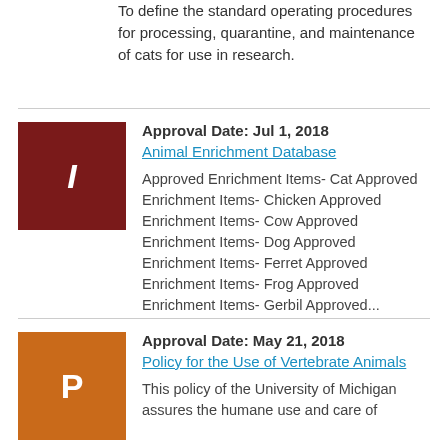To define the standard operating procedures for processing, quarantine, and maintenance of cats for use in research.
Approval Date: Jul 1, 2018
Animal Enrichment Database
Approved Enrichment Items- Cat Approved Enrichment Items- Chicken Approved Enrichment Items- Cow Approved Enrichment Items- Dog Approved Enrichment Items- Ferret Approved Enrichment Items- Frog Approved Enrichment Items- Gerbil Approved...
Approval Date: May 21, 2018
Policy for the Use of Vertebrate Animals
This policy of the University of Michigan assures the humane use and care of